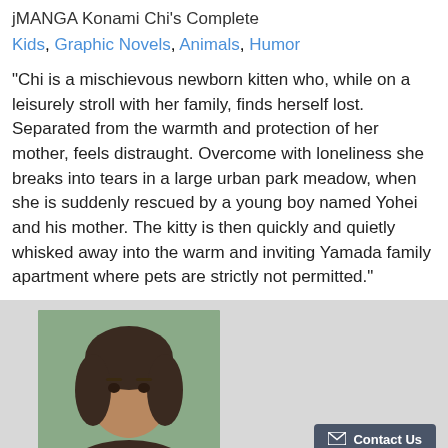jMANGA Konami Chi's Complete
Kids, Graphic Novels, Animals, Humor
"Chi is a mischievous newborn kitten who, while on a leisurely stroll with her family, finds herself lost. Separated from the warmth and protection of her mother, feels distraught. Overcome with loneliness she breaks into tears in a large urban park meadow, when she is suddenly rescued by a young boy named Yohei and his mother. The kitty is then quickly and quietly whisked away into the warm and inviting Yamada family apartment where pets are strictly not permitted."
[Figure (photo): Photo of a woman with curly dark hair, partially visible, set against a gray background panel]